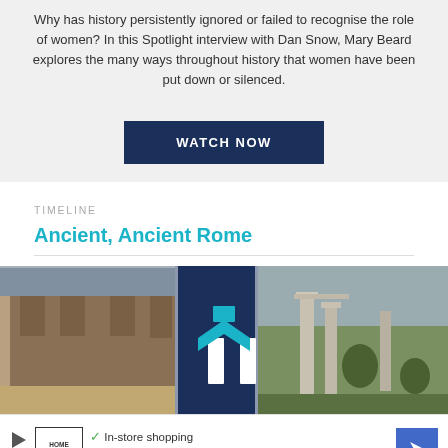Why has history persistently ignored or failed to recognise the role of women? In this Spotlight interview with Dan Snow, Mary Beard explores the many ways throughout history that women have been put down or silenced.
[Figure (screenshot): Dark navy blue button labeled WATCH NOW]
TIMELINE
Ancient, Ancient Rome
[Figure (photo): Collage of three photos: a medieval castle on the left, a History Hit logo in the center on dark navy background, and ancient Roman columns on the right]
[Figure (screenshot): Home Sense advertisement banner with play icon, logo, checkmarks for In-store shopping and In-store pickup, red X for Delivery, and blue navigation arrow]